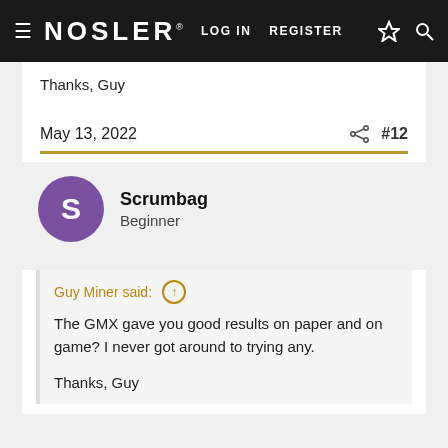NOSLER® LOG IN  REGISTER
Thanks, Guy
May 13, 2022  #12
Scrumbag
Beginner
Guy Miner said:
The GMX gave you good results on paper and on game? I never got around to trying any.

Thanks, Guy